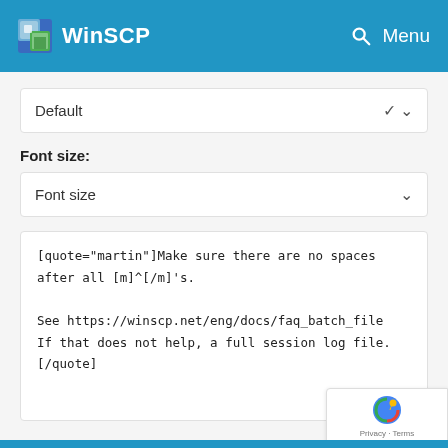WinSCP
Default
Font size:
Font size
[quote="martin"]Make sure there are no spaces
after all [m]^[/m]'s.
See https://winscp.net/eng/docs/faq_batch_file
If that does not help, a full session log file.
[/quote]